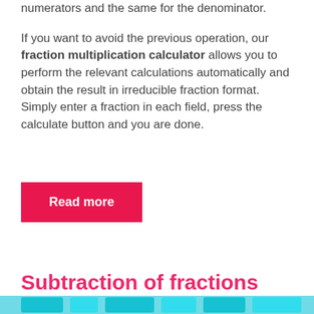numerators and the same for the denominator. If you want to avoid the previous operation, our fraction multiplication calculator allows you to perform the relevant calculations automatically and obtain the result in irreducible fraction format. Simply enter a fraction in each field, press the calculate button and you are done.
Read more
Subtraction of fractions
[Figure (other): Partial view of a cyan/teal colored banner or graphic at the bottom of the page]